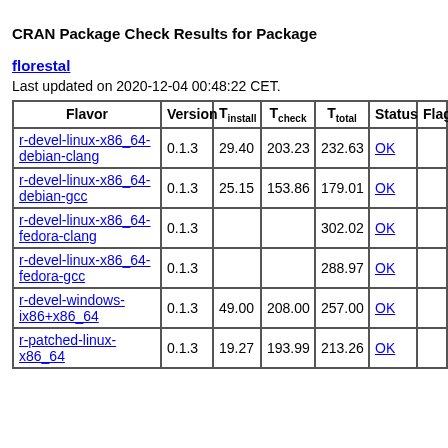CRAN Package Check Results for Package florestal
Last updated on 2020-12-04 00:48:22 CET.
| Flavor | Version | T_install | T_check | T_total | Status | Flags |
| --- | --- | --- | --- | --- | --- | --- |
| r-devel-linux-x86_64-debian-clang | 0.1.3 | 29.40 | 203.23 | 232.63 | OK |  |
| r-devel-linux-x86_64-debian-gcc | 0.1.3 | 25.15 | 153.86 | 179.01 | OK |  |
| r-devel-linux-x86_64-fedora-clang | 0.1.3 |  |  | 302.02 | OK |  |
| r-devel-linux-x86_64-fedora-gcc | 0.1.3 |  |  | 288.97 | OK |  |
| r-devel-windows-ix86+x86_64 | 0.1.3 | 49.00 | 208.00 | 257.00 | OK |  |
| r-patched-linux-x86_64 | 0.1.3 | 19.27 | 193.99 | 213.26 | OK |  |